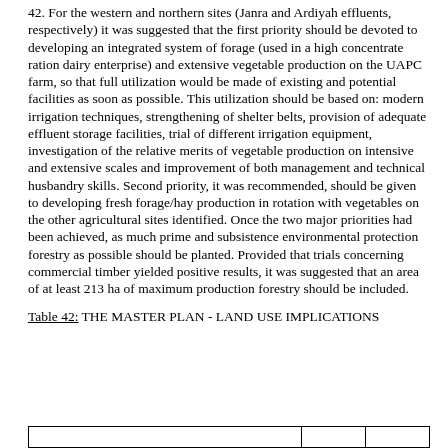42. For the western and northern sites (Janra and Ardiyah effluents, respectively) it was suggested that the first priority should be devoted to developing an integrated system of forage (used in a high concentrate ration dairy enterprise) and extensive vegetable production on the UAPC farm, so that full utilization would be made of existing and potential facilities as soon as possible. This utilization should be based on: modern irrigation techniques, strengthening of shelter belts, provision of adequate effluent storage facilities, trial of different irrigation equipment, investigation of the relative merits of vegetable production on intensive and extensive scales and improvement of both management and technical husbandry skills. Second priority, it was recommended, should be given to developing fresh forage/hay production in rotation with vegetables on the other agricultural sites identified. Once the two major priorities had been achieved, as much prime and subsistence environmental protection forestry as possible should be planted. Provided that trials concerning commercial timber yielded positive results, it was suggested that an area of at least 213 ha of maximum production forestry should be included.
Table 42: THE MASTER PLAN - LAND USE IMPLICATIONS
|  |  |  |
| --- | --- | --- |
|  |  |  |